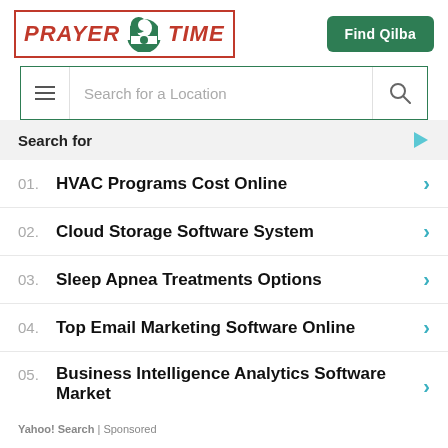[Figure (logo): Prayer Time logo with green mosque silhouette and red border, plus green 'Find Qilba' button]
Search for a Location
Search for
01. HVAC Programs Cost Online
02. Cloud Storage Software System
03. Sleep Apnea Treatments Options
04. Top Email Marketing Software Online
05. Business Intelligence Analytics Software Market
Yahoo! Search | Sponsored